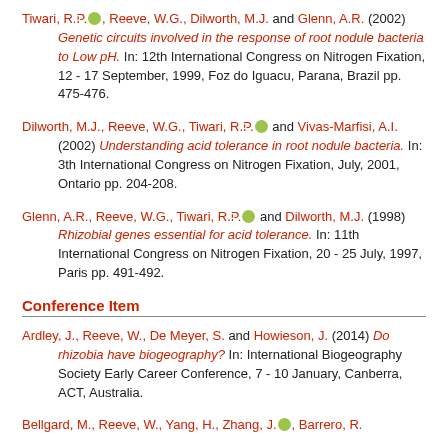Tiwari, R.P., Reeve, W.G., Dilworth, M.J. and Glenn, A.R. (2002) Genetic circuits involved in the response of root nodule bacteria to Low pH. In: 12th International Congress on Nitrogen Fixation, 12 - 17 September, 1999, Foz do Iguacu, Parana, Brazil pp. 475-476.
Dilworth, M.J., Reeve, W.G., Tiwari, R.P. and Vivas-Marfisi, A.I. (2002) Understanding acid tolerance in root nodule bacteria. In: 3th International Congress on Nitrogen Fixation, July, 2001, Ontario pp. 204-208.
Glenn, A.R., Reeve, W.G., Tiwari, R.P. and Dilworth, M.J. (1998) Rhizobial genes essential for acid tolerance. In: 11th International Congress on Nitrogen Fixation, 20 - 25 July, 1997, Paris pp. 491-492.
Conference Item
Ardley, J., Reeve, W., De Meyer, S. and Howieson, J. (2014) Do rhizobia have biogeography? In: International Biogeography Society Early Career Conference, 7 - 10 January, Canberra, ACT, Australia.
Bellgard, M., Reeve, W., Yang, H., Zhang, J., Barrero, R.